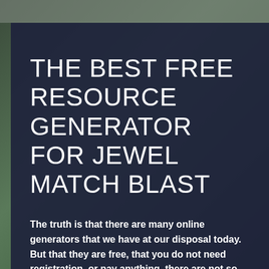[Figure (photo): Background photo of green jewels/gems with dark overlay panel]
THE BEST FREE RESOURCE GENERATOR FOR JEWEL MATCH BLAST
The truth is that there are many online generators that we have at our disposal today. But that they are free, that you do not need registration, or pay anything, there are not so many, so we recommend ours, and not only we do it, but there are